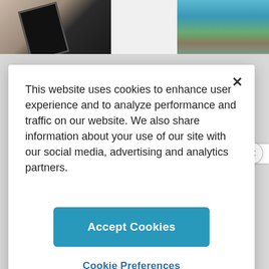[Figure (screenshot): Website screenshot showing top photo strip with images of hands holding phone, blank middle, and nature/water scene. Below is a dimmed background with a pink signup button bar, advertisement text, and privacy policy text. A cookie consent modal dialog overlays the center of the page.]
This website uses cookies to enhance user experience and to analyze performance and traffic on our website. We also share information about your use of our site with our social media, advertising and analytics partners.
Accept Cookies
Cookie Preferences
ADVERTISEMENT
By proceeding, you agree to our Privacy Policy and Terms of Use.